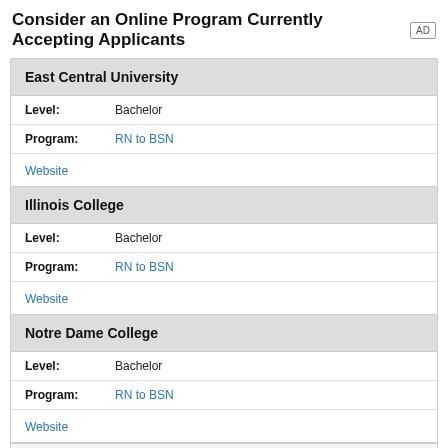Consider an Online Program Currently Accepting Applicants
| East Central University |  |  |
| Level: | Bachelor |  |
| Program: | RN to BSN |  |
| Website |  |  |
| Illinois College |  |  |
| Level: | Bachelor |  |
| Program: | RN to BSN |  |
| Website |  |  |
| Notre Dame College |  |  |
| Level: | Bachelor |  |
| Program: | RN to BSN |  |
| Website |  |  |